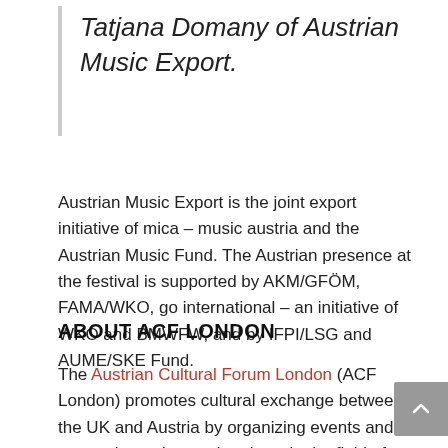Tatjana Domany of Austrian Music Export.
Austrian Music Export is the joint export initiative of mica – music austria and the Austrian Music Fund. The Austrian presence at the festival is supported by AKM/GFÖM, FAMA/WKO, go international – an initiative of WKO and BMWFW, and by IFPI/LSG and AUME/SKE Fund.
ABOUT ACF LONDON
The Austrian Cultural Forum London (ACF London) promotes cultural exchange between the UK and Austria by organizing events and supporting artists and projects in the field of music, performing arts